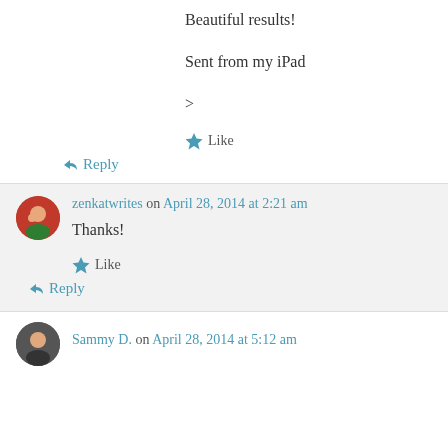Beautiful results!
Sent from my iPad
>
★ Like
↳ Reply
zenkatwrites on April 28, 2014 at 2:21 am
Thanks!
★ Like
↳ Reply
Sammy D. on April 28, 2014 at 5:12 am